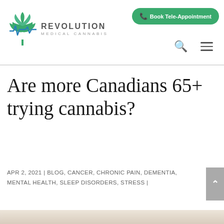Revolution Medical Cannabis — Book Tele-Appointment
Are more Canadians 65+ trying cannabis?
APR 2, 2021 | BLOG, CANCER, CHRONIC PAIN, DEMENTIA, MENTAL HEALTH, SLEEP DISORDERS, STRESS |
[Figure (photo): Elderly man smiling and talking on a phone outdoors, wearing a fur-collared coat]